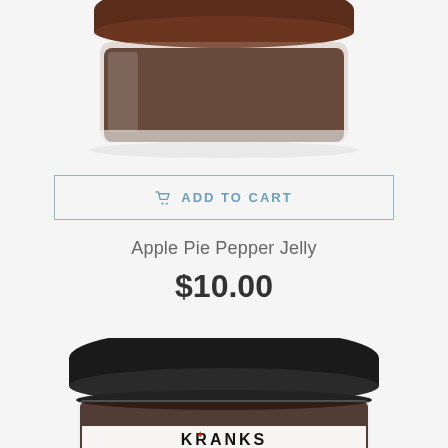[Figure (photo): Top portion of a glass jar with dark brown contents and a brown lid, partially cropped at top]
ADD TO CART
Apple Pie Pepper Jelly
$10.00
[Figure (photo): Glass jar of Kranks brand product with black lid, dark contents, and white label showing KRANKS brand name with red maple leaf logo, partially cropped at bottom]